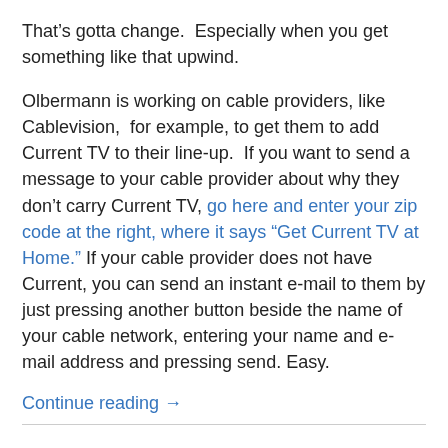That's gotta change.  Especially when you get something like that upwind.
Olbermann is working on cable providers, like Cablevision,  for example, to get them to add Current TV to their line-up.  If you want to send a message to your cable provider about why they don't carry Current TV, go here and enter your zip code at the right, where it says “Get Current TV at Home.” If your cable provider does not have Current, you can send an instant e-mail to them by just pressing another button beside the name of your cable network, entering your name and e-mail address and pressing send. Easy.
Continue reading →